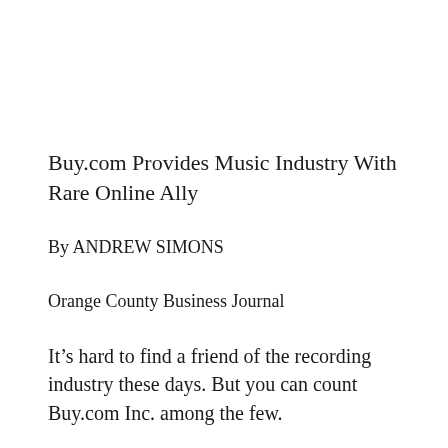Buy.com Provides Music Industry With Rare Online Ally
By ANDREW SIMONS
Orange County Business Journal
It’s hard to find a friend of the recording industry these days. But you can count Buy.com Inc. among the few.